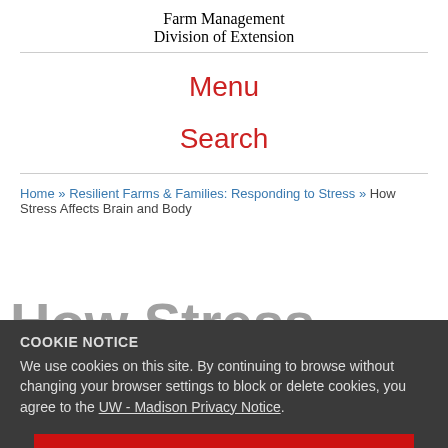Farm Management
Division of Extension
Menu
Search
Home » Resilient Farms & Families: Responding to Stress » How Stress Affects Brain and Body
How Stress Affects Brain and Body
COOKIE NOTICE
We use cookies on this site. By continuing to browse without changing your browser settings to block or delete cookies, you agree to the UW - Madison Privacy Notice.
GOT IT!